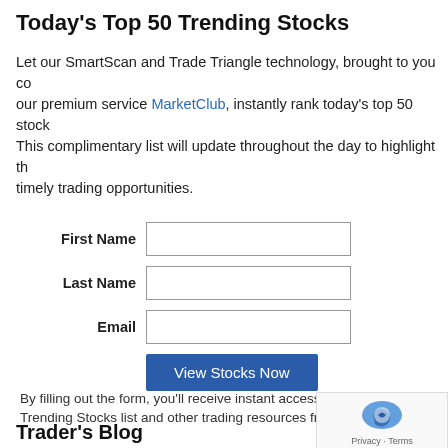Today's Top 50 Trending Stocks
Let our SmartScan and Trade Triangle technology, brought to you courtesy of our premium service MarketClub, instantly rank today's top 50 stocks. This complimentary list will update throughout the day to highlight the most timely trading opportunities.
First Name [input field]
Last Name [input field]
Email [input field]
View Stocks Now [button]
By filling out the form, you'll receive instant access to Today's Top 50 Trending Stocks list and other trading resources from INO.com.
Trader's Blog